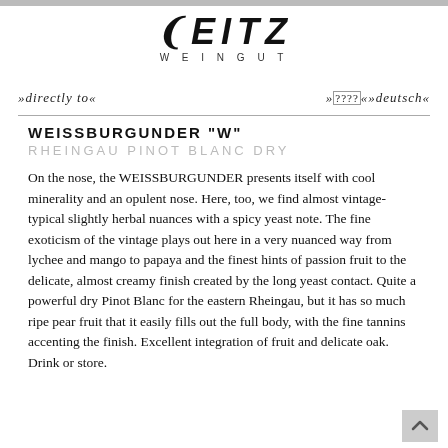LEITZ WEINGUT
»directly to«    »????«»deutsch«
WEISSBURGUNDER "W"
RHEINGAU PINOT BLANC DRY
On the nose, the WEISSBURGUNDER presents itself with cool minerality and an opulent nose. Here, too, we find almost vintage-typical slightly herbal nuances with a spicy yeast note. The fine exoticism of the vintage plays out here in a very nuanced way from lychee and mango to papaya and the finest hints of passion fruit to the delicate, almost creamy finish created by the long yeast contact. Quite a powerful dry Pinot Blanc for the eastern Rheingau, but it has so much ripe pear fruit that it easily fills out the full body, with the fine tannins accenting the finish. Excellent integration of fruit and delicate oak. Drink or store.